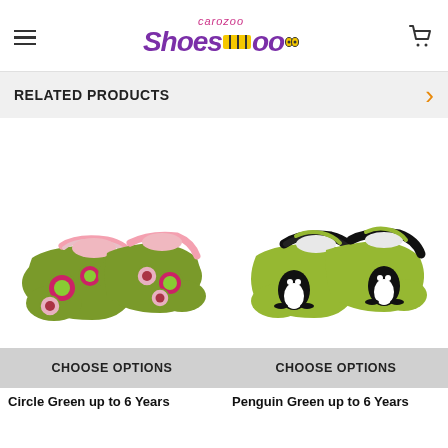carozoo ShoesZoo
RELATED PRODUCTS
[Figure (photo): Green baby shoe with pink lining and colorful circle dot appliques]
[Figure (photo): Green baby shoe with black lining and penguin applique]
CHOOSE OPTIONS
CHOOSE OPTIONS
Circle Green up to 6 Years
Penguin Green up to 6 Years